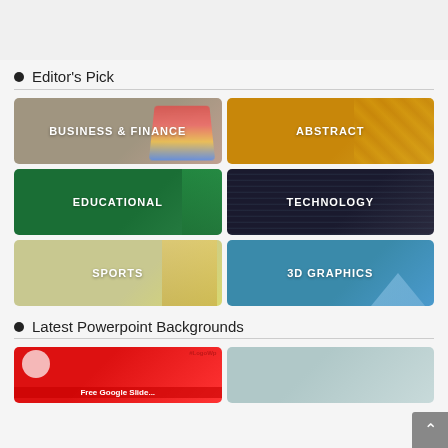Editor's Pick
[Figure (illustration): Grid of 6 category tiles: Business & Finance (gray/3D boxes bg), Abstract (orange/circuit bg), Educational (green bg), Technology (dark/matrix bg), Sports (light yellow/figure bg), 3D Graphics (blue/geometric bg)]
Latest Powerpoint Backgrounds
[Figure (screenshot): Two thumbnail images at bottom: red Google Slides thumbnail on left, gray/blue abstract on right. Scroll-to-top button at bottom right.]